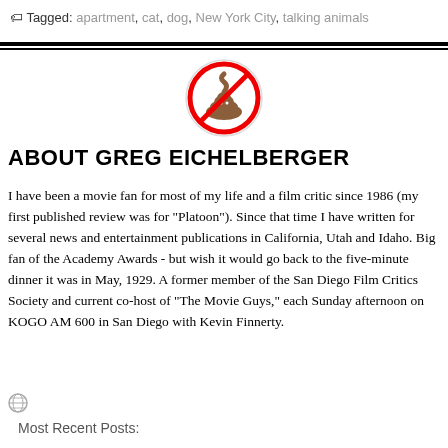Tagged: apartment, cat, dog, New York City, talking animals
[Figure (illustration): A no-poop emoji icon: a red circle with a diagonal red slash over a brown poop pile, inside a light circle border]
ABOUT GREG EICHELBERGER
I have been a movie fan for most of my life and a film critic since 1986 (my first published review was for "Platoon"). Since that time I have written for several news and entertainment publications in California, Utah and Idaho. Big fan of the Academy Awards - but wish it would go back to the five-minute dinner it was in May, 1929. A former member of the San Diego Film Critics Society and current co-host of "The Movie Guys," each Sunday afternoon on KOGO AM 600 in San Diego with Kevin Finnerty.
Most Recent Posts: